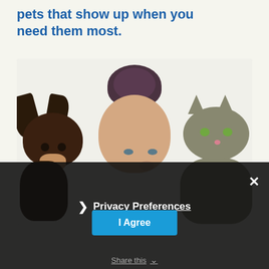pets that show up when you need them most.
[Figure (photo): A woman with dark braided updo hair surrounded by a small Chihuahua dog on the left and a tabby cat on the right, all facing the camera against a light background.]
× Privacy Preferences I Agree Share this ˅